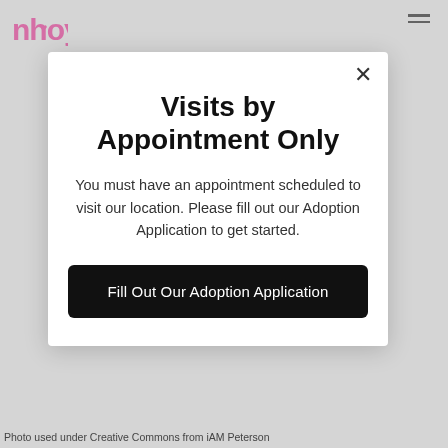[Figure (logo): NHOY pink logo mark in top left corner]
[Figure (other): Hamburger menu icon (three horizontal lines) in top right corner]
Visits by Appointment Only
You must have an appointment scheduled to visit our location. Please fill out our Adoption Application to get started.
Fill Out Our Adoption Application
Photo used under Creative Commons from iAM Peterson